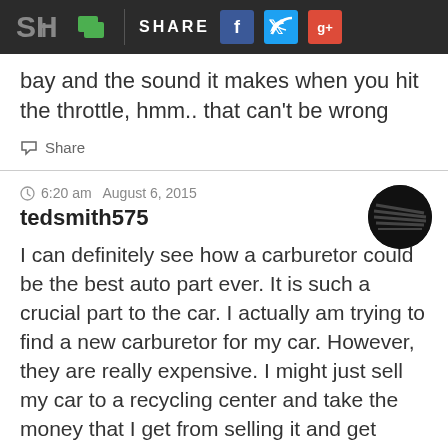SH | Share | f | Twitter | g+
bay and the sound it makes when you hit the throttle, hmm.. that can't be wrong
Share
6:20 am  August 6, 2015
tedsmith575
I can definitely see how a carburetor could be the best auto part ever. It is such a crucial part to the car. I actually am trying to find a new carburetor for my car. However, they are really expensive. I might just sell my car to a recycling center and take the money that I get from selling it and get another car.
http://aandaautorecycle.com